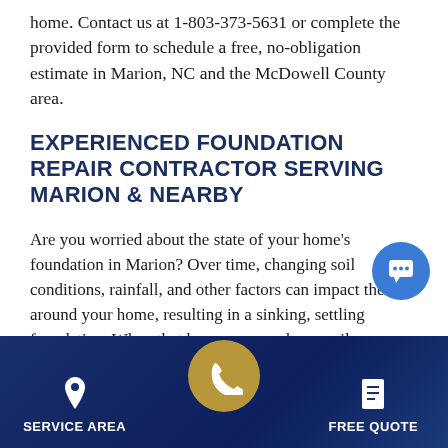home. Contact us at 1-803-373-5631 or complete the provided form to schedule a free, no-obligation estimate in Marion, NC and the McDowell County area.
EXPERIENCED FOUNDATION REPAIR CONTRACTOR SERVING MARION & NEARBY
Are you worried about the state of your home's foundation in Marion? Over time, changing soil conditions, rainfall, and other factors can impact the area around your home, resulting in a sinking, settling foundation. When that happens, your home will display a range of symptoms, such as bowing walls, sagging floors, sticking windows, and more. These common foundation
[Figure (infographic): Bottom navigation bar with gradient blue background. Left: map pin icon with 'SERVICE AREA' label. Center: gold circle with phone/handset icon (raised above bar). Right: document icon with 'FREE QUOTE' label. Also a blue chat bubble icon in the top-right area of the content.]